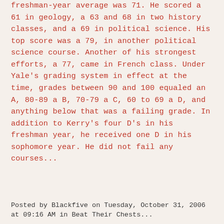freshman-year average was 71. He scored a 61 in geology, a 63 and 68 in two history classes, and a 69 in political science. His top score was a 79, in another political science course. Another of his strongest efforts, a 77, came in French class. Under Yale's grading system in effect at the time, grades between 90 and 100 equaled an A, 80-89 a B, 70-79 a C, 60 to 69 a D, and anything below that was a failing grade. In addition to Kerry's four D's in his freshman year, he received one D in his sophomore year. He did not fail any courses...
Posted by Blackfive on Tuesday, October 31, 2006 at 09:16 AM in Beat Their Chests...